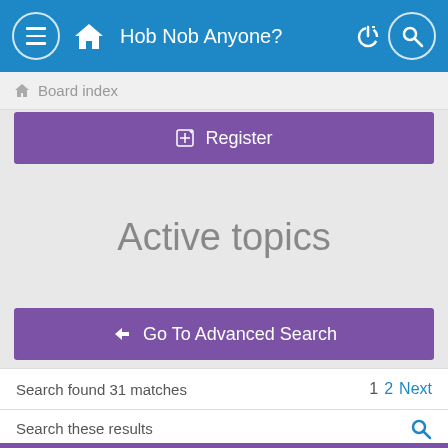Hob Nob Anyone?
Board index
Register
Active topics
Go To Advanced Search
Search found 31 matches  1  2  Next
Search these results